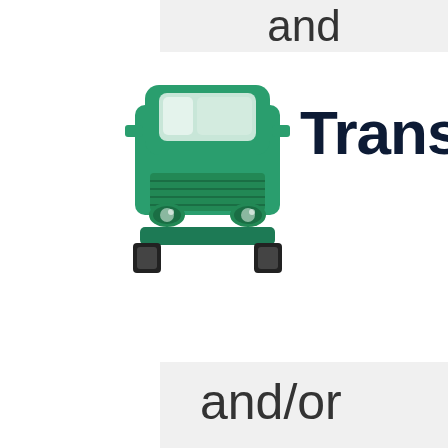and
[Figure (illustration): Green semi-truck icon viewed from the front]
Transp
and/or non- deletion of